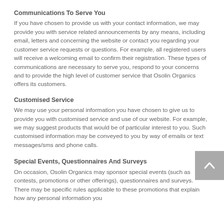Communications To Serve You
If you have chosen to provide us with your contact information, we may provide you with service related announcements by any means, including email, letters and concerning the website or contact you regarding your customer service requests or questions. For example, all registered users will receive a welcoming email to confirm their registration. These types of communications are necessary to serve you, respond to your concerns and to provide the high level of customer service that Osolin Organics offers its customers.
Customised Service
We may use your personal information you have chosen to give us to provide you with customised service and use of our website. For example, we may suggest products that would be of particular interest to you. Such customised information may be conveyed to you by way of emails or text messages/sms and phone calls.
Special Events, Questionnaires And Surveys
On occasion, Osolin Organics may sponsor special events (such as contests, promotions or other offerings), questionnaires and surveys. There may be specific rules applicable to these promotions that explain how any personal information you